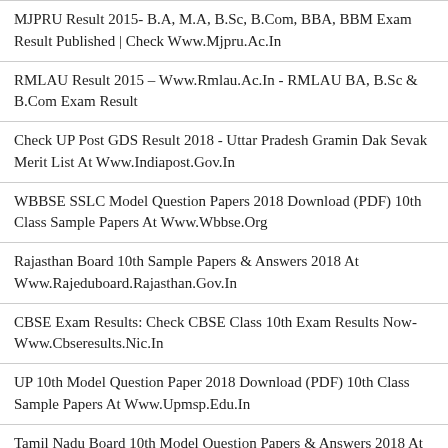MJPRU Result 2015- B.A, M.A, B.Sc, B.Com, BBA, BBM Exam Result Published | Check Www.Mjpru.Ac.In
RMLAU Result 2015 – Www.Rmlau.Ac.In - RMLAU BA, B.Sc & B.Com Exam Result
Check UP Post GDS Result 2018 - Uttar Pradesh Gramin Dak Sevak Merit List At Www.Indiapost.Gov.In
WBBSE SSLC Model Question Papers 2018 Download (PDF) 10th Class Sample Papers At Www.Wbbse.Org
Rajasthan Board 10th Sample Papers & Answers 2018 At Www.Rajeduboard.Rajasthan.Gov.In
CBSE Exam Results: Check CBSE Class 10th Exam Results Now- Www.Cbseresults.Nic.In
UP 10th Model Question Paper 2018 Download (PDF) 10th Class Sample Papers At Www.Upmsp.Edu.In
Tamil Nadu Board 10th Model Question Papers & Answers 2018 At Www.Dge.Tn.Gov.In